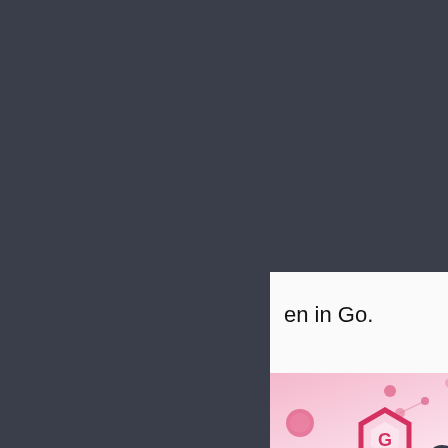en in Go.
[Figure (illustration): Graphene Airdrop Information banner with pink/rose gradient background, decorative balloon and molecule graphics, Graphene hexagonal logo, bold text 'Graphene' and 'AIRDROP INFORMATION' in pink lettering]
here are to be Six (6)